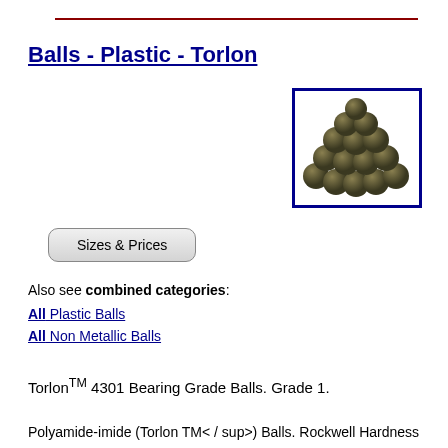Balls - Plastic - Torlon
[Figure (photo): A group of small dark olive/bronze-colored Torlon plastic balls arranged in a cluster on a white background, shown inside a blue-bordered box.]
Sizes & Prices
Also see combined categories:
All Plastic Balls
All Non Metallic Balls
Torlon™ 4301 Bearing Grade Balls. Grade 1.
Polyamide-imide (Torlon TM® / sup>) Balls. Rockwell Hardness